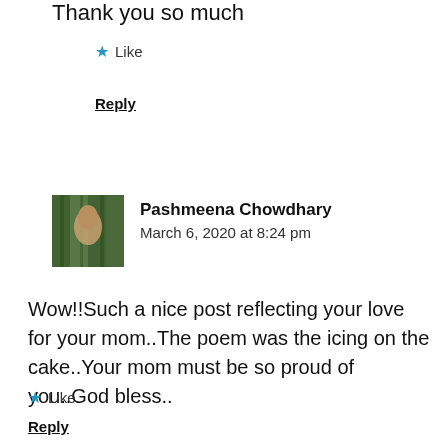Thank you so much
Like
Reply
Pashmeena Chowdhary
March 6, 2020 at 8:24 pm
Wow!!Such a nice post reflecting your love for your mom..The poem was the icing on the cake..Your mom must be so proud of you..God bless..
Like
Reply